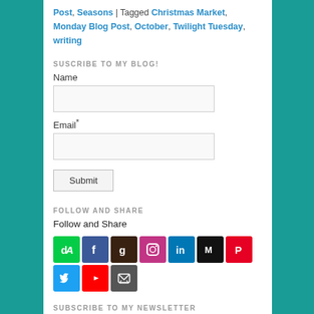Post, Seasons | Tagged Christmas Market, Monday Blog Post, October, Twilight Tuesday, writing
SUSCRIBE TO MY BLOG!
Name
Email*
Submit
FOLLOW AND SHARE
Follow and Share
[Figure (infographic): Row of social media icon buttons: DeviantArt (green), Facebook (blue), Goodreads (dark brown), Instagram (magenta), LinkedIn (blue), Medium (black), Pinterest (red), Twitter (light blue), YouTube (red), Email/print (grey)]
SUBSCRIBE TO MY NEWSLETTER
Subscribe to the newsletter